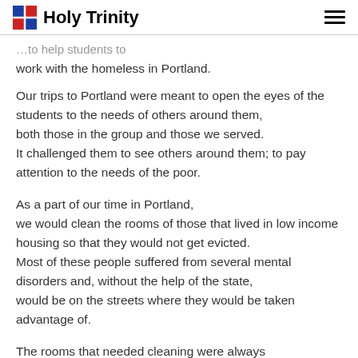Holy Trinity
work with the homeless in Portland.
Our trips to Portland were meant to open the eyes of the students to the needs of others around them, both those in the group and those we served. It challenged them to see others around them; to pay attention to the needs of the poor.
As a part of our time in Portland, we would clean the rooms of those that lived in low income housing so that they would not get evicted. Most of these people suffered from several mental disorders and, without the help of the state, would be on the streets where they would be taken advantage of.
The rooms that needed cleaning were always